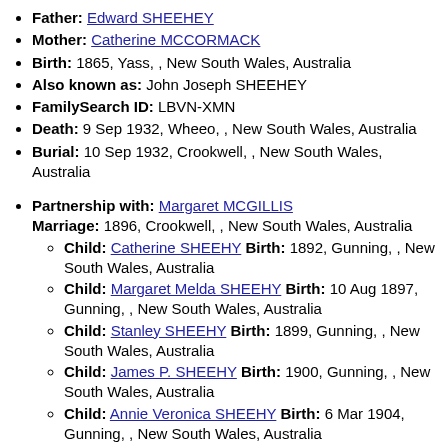Father: Edward SHEEHEY
Mother: Catherine MCCORMACK
Birth: 1865, Yass, , New South Wales, Australia
Also known as: John Joseph SHEEHEY
FamilySearch ID: LBVN-XMN
Death: 9 Sep 1932, Wheeo, , New South Wales, Australia
Burial: 10 Sep 1932, Crookwell, , New South Wales, Australia
Partnership with: Margaret MCGILLIS Marriage: 1896, Crookwell, , New South Wales, Australia
Child: Catherine SHEEHY Birth: 1892, Gunning, , New South Wales, Australia
Child: Margaret Melda SHEEHY Birth: 10 Aug 1897, Gunning, , New South Wales, Australia
Child: Stanley SHEEHY Birth: 1899, Gunning, , New South Wales, Australia
Child: James P. SHEEHY Birth: 1900, Gunning, , New South Wales, Australia
Child: Annie Veronica SHEEHY Birth: 6 Mar 1904, Gunning, , New South Wales, Australia
Child: Mary Eileen SHEEHY Birth: 6 Mar 1904, Gunning, , New South Wales, Australia